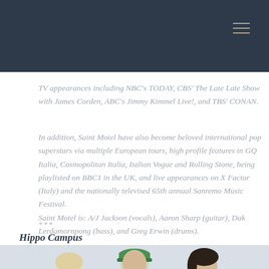TV appearances including NBC's TODAY, CBS' The Late Late Show with James Corden, ABC's Jimmy Kimmel Live!, and TBS' CONAN.
In addition, Saint Motel have also become beloved international pop superstars via multiple European tours, high profile features in GQ Italia, Cosmopolitan Italia, Italian Vogue and Rolling Stone, being playlisted on BBC1 in the UK, and live appearances on X Factor (Italy) and the nationally televised 65th annual Sanremo Music Festival. Saint Motel is: A/J Jackson (vocals), Aaron Sharp (guitar), Dak Lerdamornpong (bass), and Greg Erwin (drums).
***
Hippo Campus
[Figure (photo): Group photo of band members including three people visible at bottom of page]